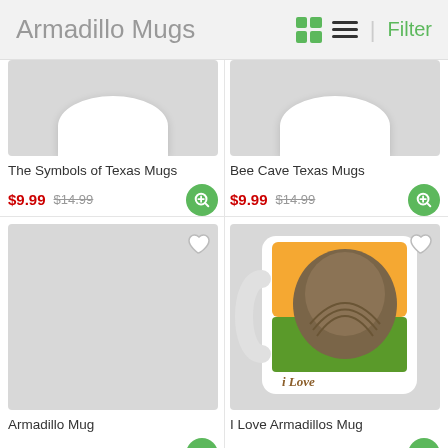Armadillo Mugs
[Figure (screenshot): Partial top view of The Symbols of Texas Mugs product]
The Symbols of Texas Mugs
$9.99 $14.99
[Figure (screenshot): Partial top view of Bee Cave Texas Mugs product]
Bee Cave Texas Mugs
$9.99 $14.99
[Figure (photo): Armadillo Mug product placeholder image (gray background)]
Armadillo Mug
$9.99 $14.99
[Figure (photo): I Love Armadillos Mug product image showing white ceramic mug with armadillo artwork]
I Love Armadillos Mug
$9.99 $14.99